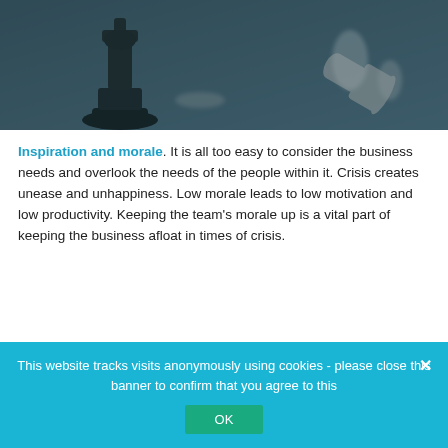[Figure (photo): Photo of chess pieces on a dark surface, showing dark king and other pieces in a teal-toned black and white style]
Inspiration and morale. It is all too easy to consider the business needs and overlook the needs of the people within it. Crisis creates unease and unhappiness. Low morale leads to low motivation and low productivity. Keeping the team’s morale up is a vital part of keeping the business afloat in times of crisis.
This website tracks visits anonymously using cookies - please close this banner to confirm that you agree to this
OK